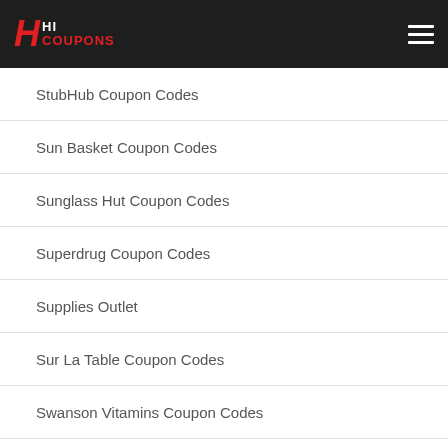HI COUPONS
StubHub Coupon Codes
Sun Basket Coupon Codes
Sunglass Hut Coupon Codes
Superdrug Coupon Codes
Supplies Outlet
Sur La Table Coupon Codes
Swanson Vitamins Coupon Codes
Swarovski Coupon Codes
Sweetwater